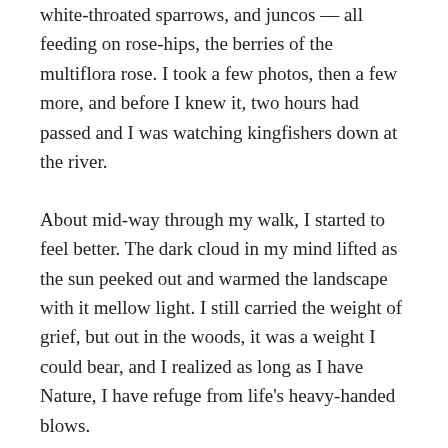white-throated sparrows, and juncos — all feeding on rose-hips, the berries of the multiflora rose. I took a few photos, then a few more, and before I knew it, two hours had passed and I was watching kingfishers down at the river.
About mid-way through my walk, I started to feel better. The dark cloud in my mind lifted as the sun peeked out and warmed the landscape with it mellow light. I still carried the weight of grief, but out in the woods, it was a weight I could bear, and I realized as long as I have Nature, I have refuge from life's heavy-handed blows.
I can't put my finger on any one event or sensation that eased my pain, so I can't offer a ten-point plan to finding peace in the natural world. All I can tell you is: Being surrounded by the beauty and abundance of life made